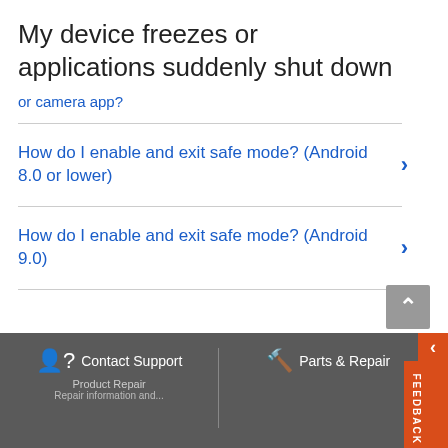My device freezes or applications suddenly shut down
or camera app?
How do I enable and exit safe mode? (Android 8.0 or lower)
How do I enable and exit safe mode? (Android 9.0)
Contact Support   Parts & Repair